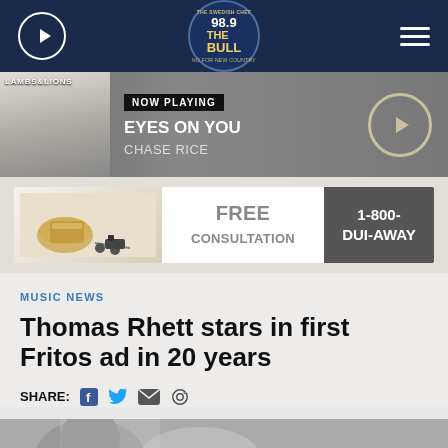[Figure (screenshot): Radio station 98.9 The Bull navigation bar with play button, logo, and hamburger menu on dark navy background]
[Figure (screenshot): Now Playing bar showing album art for Lambs & Lions, NOW PLAYING label, song EYES ON YOU by CHASE RICE, and circular play button]
[Figure (screenshot): Advertisement banner: FREE CONSULTATION / 1-800-DUI-AWAY with whiskey glass and car keys image]
MUSIC NEWS
Thomas Rhett stars in first Fritos ad in 20 years
SHARE:
[Figure (photo): Partial bottom image showing people, cropped]